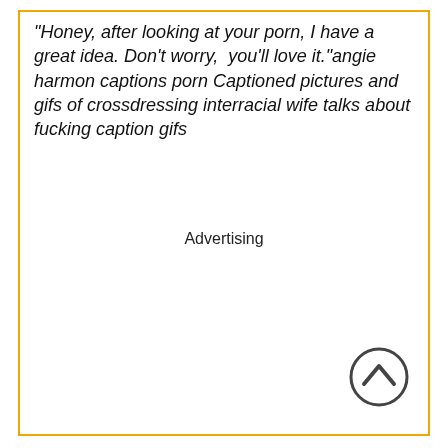“Honey, after looking at your porn, I have a great idea. Don’t worry, you’ll love it.”angie harmon captions porn Captioned pictures and gifs of crossdressing interracial wife talks about fucking caption gifs
Advertising
[Figure (other): Scroll-to-top button: circle with upward chevron arrow icon]